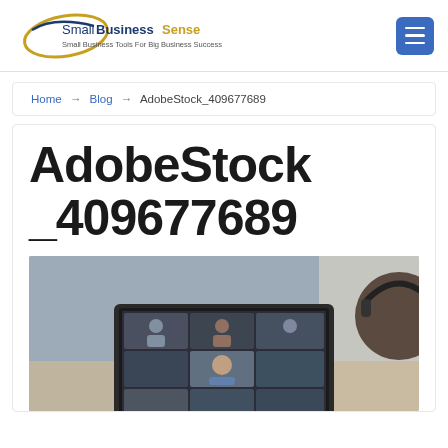[Figure (logo): SmallBusinessSense logo with tagline 'Small Business Tools For Big Business Success']
Home → Blog → AdobeStock_409677689
AdobeStock_409677689
[Figure (photo): Person wearing headphones viewing a laptop screen showing a video conference call with multiple participants in a grid layout]